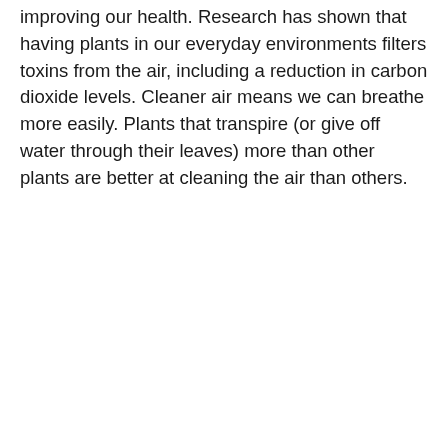improving our health. Research has shown that having plants in our everyday environments filters toxins from the air, including a reduction in carbon dioxide levels. Cleaner air means we can breathe more easily. Plants that transpire (or give off water through their leaves) more than other plants are better at cleaning the air than others.